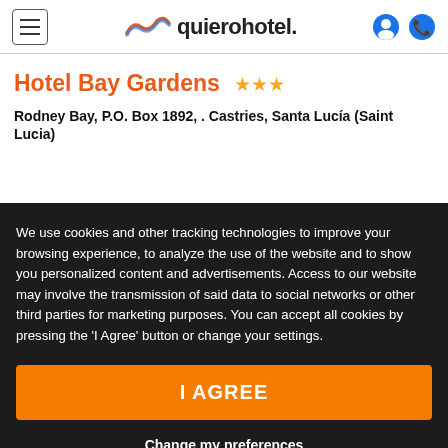quierohotel.
Hotel Bay Gardens ★★★
Rodney Bay, P.O. Box 1892, . Castries, Santa Lucía (Saint Lucia)
We use cookies and other tracking technologies to improve your browsing experience, to analyze the use of the website and to show you personalized content and advertisements. Access to our website may involve the transmission of said data to social networks or other third parties for marketing purposes. You can accept all cookies by pressing the 'I Agree' button or change your settings.
I AGREE
Change my preferences